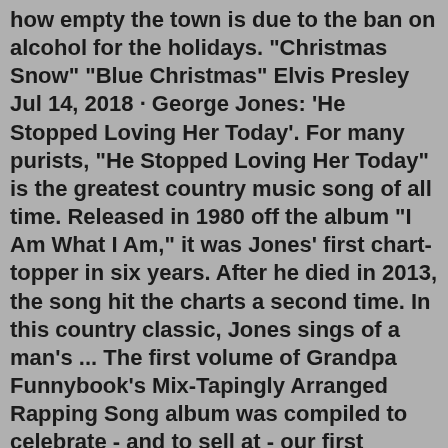how empty the town is due to the ban on alcohol for the holidays. "Christmas Snow" "Blue Christmas" Elvis Presley Jul 14, 2018 · George Jones: 'He Stopped Loving Her Today'. For many purists, "He Stopped Loving Her Today" is the greatest country music song of all time. Released in 1980 off the album "I Am What I Am," it was Jones' first chart-topper in six years. After he died in 2013, the song hit the charts a second time. In this country classic, Jones sings of a man's ... The first volume of Grandpa Funnybook's Mix-Tapingly Arranged Rapping Song album was compiled to celebrate - and to sell at - our first official appearance at Toronto's Fan Expo convention in 2011. Two hundred numbered copies of the mixtape were pressed to CD as an exclusive Fan Expo limited edition release. The first volume of Grandpa Funnybook's Mix-Tapingly Arranged Rapping Song album was compiled to celebrate - and to sell at - our first official appearance at Toronto's Fan Expo convention in 2011. Two hundred numbered copies of